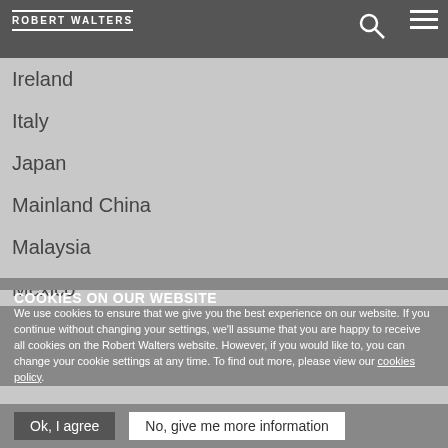Robert Walters
Hong Kong
Ireland
Italy
Japan
Mainland China
Malaysia
Mexico
Middle East
New Zealand
Philippines
Portugal
Singapore
COOKIES ON OUR WEBSITE
We use cookies to ensure that we give you the best experience on our website. If you continue without changing your settings, we'll assume that you are happy to receive all cookies on the Robert Walters website. However, if you would like to, you can change your cookie settings at any time. To find out more, please view our cookies policy.
Ok, I agree | No, give me more information